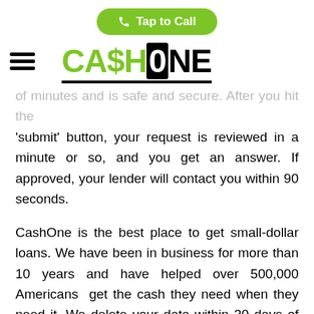Tap to Call
[Figure (logo): CashOne logo with hamburger menu icon]
of minutes and is safe and secure. After you hit the 'submit' button, your request is reviewed in a minute or so, and you get an answer. If approved, your lender will contact you within 90 seconds.
CashOne is the best place to get small-dollar loans. We have been in business for more than 10 years and have helped over 500,000 Americans get the cash they need when they need it. We delete your data within 30 days of receipt and use the best and latest security software and encryption to protect you. You can rely on us to